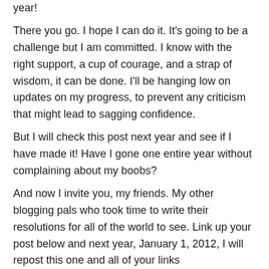year! There you go. I hope I can do it. It's going to be a challenge but I am committed. I know with the right support, a cup of courage, and a strap of wisdom, it can be done. I'll be hanging low on updates on my progress, to prevent any criticism that might lead to sagging confidence. But I will check this post next year and see if I have made it! Have I gone one entire year without complaining about my boobs? And now I invite you, my friends. My other blogging pals who took time to write their resolutions for all of the world to see. Link up your post below and next year, January 1, 2012, I will repost this one and all of your links